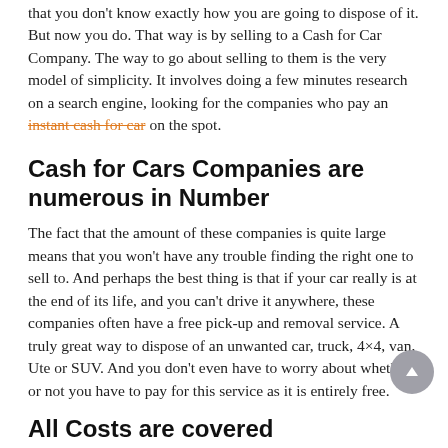that you don't know exactly how you are going to dispose of it. But now you do. That way is by selling to a Cash for Car Company. The way to go about selling to them is the very model of simplicity. It involves doing a few minutes research on a search engine, looking for the companies who pay an instant cash for car on the spot.
Cash for Cars Companies are numerous in Number
The fact that the amount of these companies is quite large means that you won't have any trouble finding the right one to sell to. And perhaps the best thing is that if your car really is at the end of its life, and you can't drive it anywhere, these companies often have a free pick-up and removal service. A truly great way to dispose of an unwanted car, truck, 4×4, van, Ute or SUV. And you don't even have to worry about whether or not you have to pay for this service as it is entirely free.
All Costs are covered